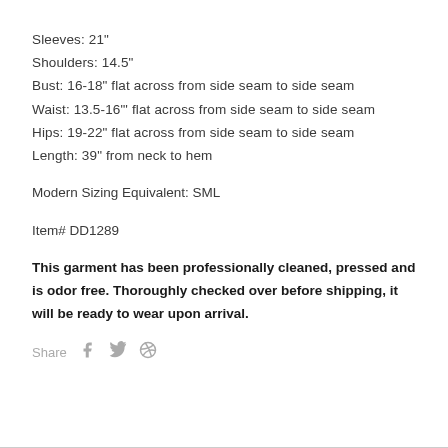Sleeves: 21"
Shoulders: 14.5"
Bust: 16-18" flat across from side seam to side seam
Waist: 13.5-16"' flat across from side seam to side seam
Hips: 19-22" flat across from side seam to side seam
Length: 39" from neck to hem
Modern Sizing Equivalent: SML
Item# DD1289
This garment has been professionally cleaned, pressed and is odor free. Thoroughly checked over before shipping, it will be ready to wear upon arrival.
Share